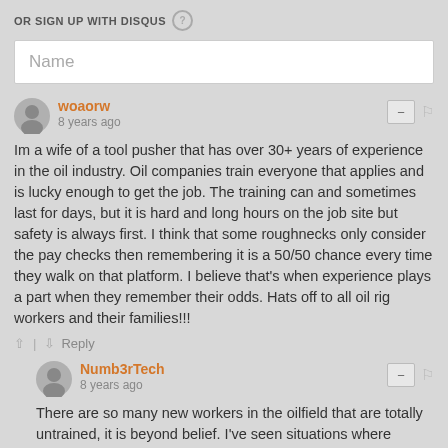OR SIGN UP WITH DISQUS ?
Name
woaorw
8 years ago
Im a wife of a tool pusher that has over 30+ years of experience in the oil industry. Oil companies train everyone that applies and is lucky enough to get the job. The training can and sometimes last for days, but it is hard and long hours on the job site but safety is always first. I think that some roughnecks only consider the pay checks then remembering it is a 50/50 chance every time they walk on that platform. I believe that's when experience plays a part when they remember their odds. Hats off to all oil rig workers and their families!!!
Reply
Numb3rTech
8 years ago
There are so many new workers in the oilfield that are totally untrained, it is beyond belief. I've seen situations where people just